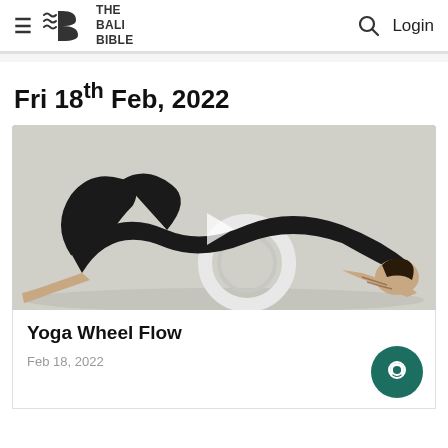THE BALI BIBLE — Login
Fri 18th Feb, 2022
[Figure (photo): A person dressed in black performing a yoga wheel backbend pose on a white background, arching over a circular yoga wheel prop, with tattooed arms visible.]
Yoga Wheel Flow
Feb 18, 2022